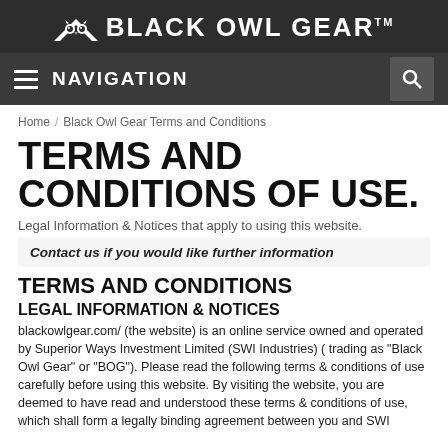BLACK OWL GEAR™
NAVIGATION
Home / Black Owl Gear Terms and Conditions
TERMS AND CONDITIONS OF USE.
Legal Information & Notices that apply to using this website.
Contact us if you would like further information
TERMS AND CONDITIONS
LEGAL INFORMATION & NOTICES
blackowlgear.com/ (the website) is an online service owned and operated by Superior Ways Investment Limited (SWI Industries) ( trading as "Black Owl Gear" or "BOG"). Please read the following terms & conditions of use carefully before using this website. By visiting the website, you are deemed to have read and understood these terms & conditions of use, which shall form a legally binding agreement between you and SWI